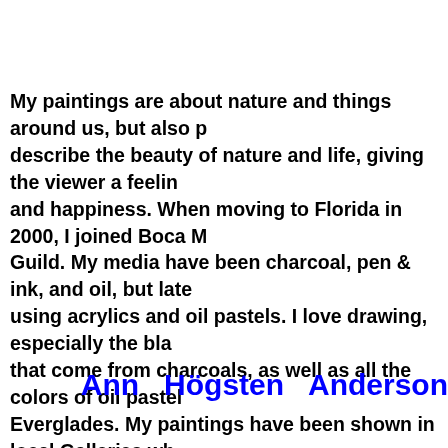My paintings are about nature and things around us, but also p... describe the beauty of nature and life, giving the viewer a feelin... and happiness. When moving to Florida in 2000, I joined Boca M... Guild. My media have been charcoal, pen & ink, and oil, but late... using acrylics and oil pastels. I love drawing, especially the bla... that come from charcoals, as well as all the colors of oil pastel ... Everglades. My paintings have been shown in local Galleries wh... many Awards and Sales. They can be found in many homes aro... Sweden.  For more information: gudrunart@hotmail.com and G...
Ann   Högsten   Anderson